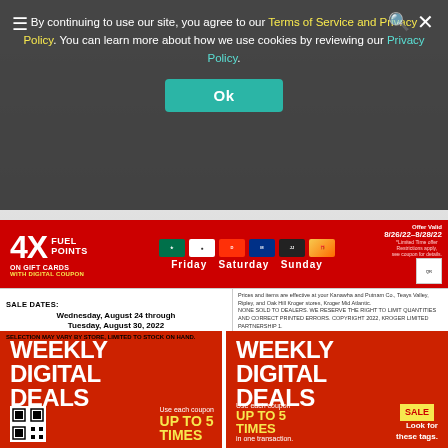[Figure (screenshot): Kroger grocery store circular ad in background showing sale items including Breyers Ice Cream at $2.99, General Mills Cereal, and Tide Liquid Laundry Detergent]
By continuing to use our site, you agree to our Terms of Service and Privacy Policy. You can learn more about how we use cookies by reviewing our Privacy Policy.
[Figure (screenshot): 4X Fuel Points on Gift Cards with Digital Coupon banner. Offer Valid 8/26/22-8/28/22. Friday Saturday Sunday. Starbucks, Dominos, DashPass, Disney, Jimmy John's logos shown.]
SALE DATES: Wednesday, August 24 through Tuesday, August 30, 2022
SELECTION MAY VARY BY STORE, LIMITED TO STOCK ON HAND.
Prices and items are effective at your Kanawha and Putnam Co., Teays Valley, Ripley, and Oak Hill Kroger stores, Kroger Mid Atlantic. NONE SOLD TO DEALERS. WE RESERVE THE RIGHT TO LIMIT QUANTITIES AND CORRECT PRINTED ERRORS. COPYRIGHT 2022, KROGER LIMITED PARTNERSHIP 1.
[Figure (infographic): Weekly Digital Deals left panel - red background, white bold text reading WEEKLY DIGITAL DEALS, with QR code and 'Use each coupon UP TO 5 TIMES' text]
[Figure (infographic): Weekly Digital Deals right panel - red background, white bold text reading WEEKLY DIGITAL DEALS, with 'Use each coupon UP TO 5 TIMES in one transaction.' text, SALE tag, and 'Look for these tags.' text]